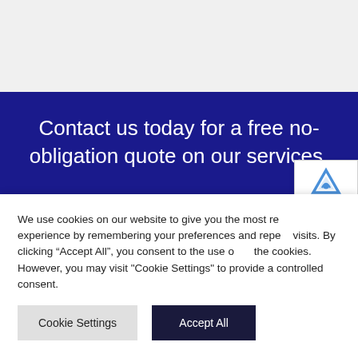Contact us today for a free no-obligation quote on our services.
We use cookies on our website to give you the most relevant experience by remembering your preferences and repeat visits. By clicking "Accept All", you consent to the use of the cookies. However, you may visit "Cookie Settings" to provide a controlled consent.